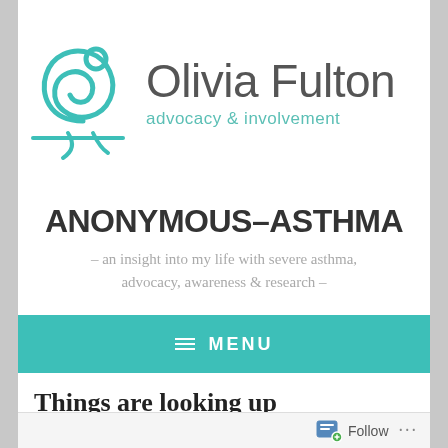[Figure (logo): Olivia Fulton advocacy & involvement logo with teal swirl graphic]
ANONYMOUS-ASTHMA
– an insight into my life with severe asthma, advocacy, awareness & research –
MENU
Things are looking up
April 17, 2014   justTUX
Follow